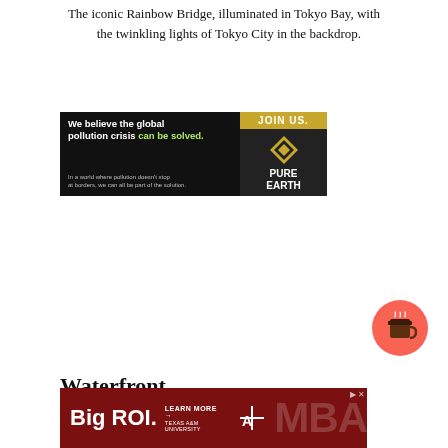The iconic Rainbow Bridge, illuminated in Tokyo Bay, with the twinkling lights of Tokyo City in the backdrop.
[Figure (infographic): Pure Earth advertisement banner: 'We believe the global pollution crisis can be solved.' with JOIN US. call to action and Pure Earth logo.]
[Figure (illustration): Red circular button with coffee cup icon.]
Waterfront
[Figure (infographic): Texas A&M University MBA advertisement banner: 'Big ROI. LEARN MORE → Texas A&M University MBA']